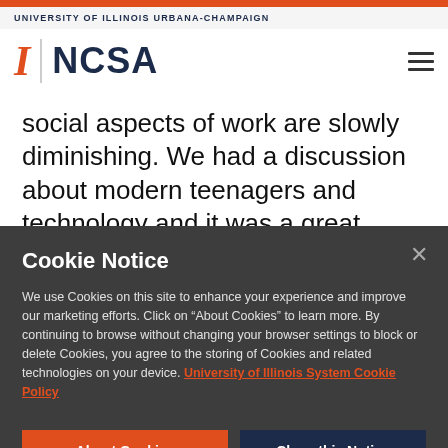UNIVERSITY OF ILLINOIS URBANA-CHAMPAIGN
[Figure (logo): University of Illinois I-mark logo with vertical divider and NCSA wordmark in dark navy, with hamburger menu icon on right]
social aspects of work are slowly diminishing. We had a discussion about modern teenagers and technology and it was a great experience
Cookie Notice
We use Cookies on this site to enhance your experience and improve our marketing efforts. Click on “About Cookies” to learn more. By continuing to browse without changing your browser settings to block or delete Cookies, you agree to the storing of Cookies and related technologies on your device. University of Illinois System Cookie Policy
About Cookies | Close this Notice